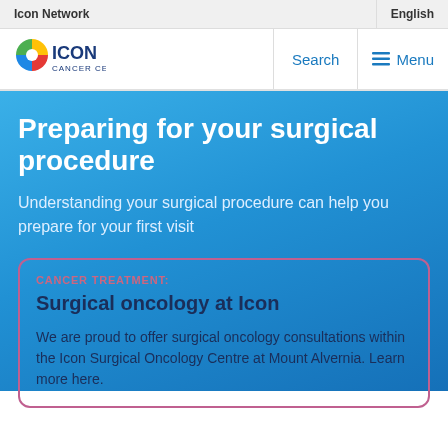Icon Network
English
[Figure (logo): Icon Cancer Centre logo with colourful circular icon and text]
Search
Menu
Preparing for your surgical procedure
Understanding your surgical procedure can help you prepare for your first visit
CANCER TREATMENT:
Surgical oncology at Icon
We are proud to offer surgical oncology consultations within the Icon Surgical Oncology Centre at Mount Alvernia. Learn more here.